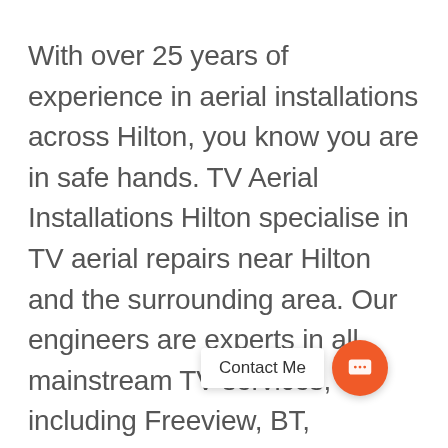With over 25 years of experience in aerial installations across Hilton, you know you are in safe hands. TV Aerial Installations Hilton specialise in TV aerial repairs near Hilton and the surrounding area. Our engineers are experts in all mainstream TV services, including Freeview, BT, YouView, Talk Talk and EE TV. Aerial services local to Hilton make sure that we always carry a wide range of specialist TV equipment with us for all these mainstream TV platforms. This means that aerial servic... often carry out same-day repairs 99% of the time...